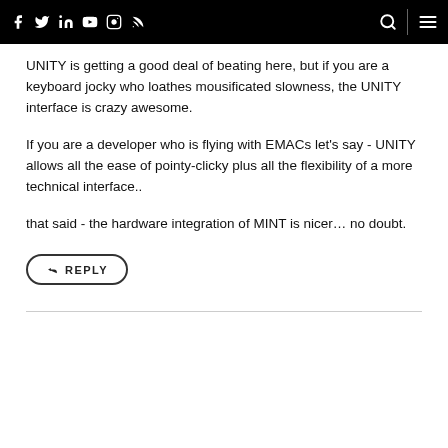f tw in yt ig rss [search] [menu]
UNITY is getting a good deal of beating here, but if you are a keyboard jocky who loathes mousificated slowness, the UNITY interface is crazy awesome.
If you are a developer who is flying with EMACs let's say - UNITY allows all the ease of pointy-clicky plus all the flexibility of a more technical interface..
that said - the hardware integration of MINT is nicer… no doubt.
↩ REPLY